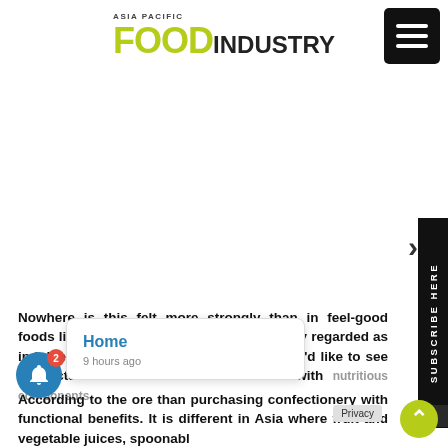ASIA PACIFIC FOOD INDUSTRY
[Figure (logo): Asia Pacific Food Industry logo with 'FOOD' in yellow-green bold and 'INDUSTRY' in black]
Nowhere is this felt more strongly than in feel-good foods like snacks. While snacks are typically regarded as indulgent, many global consumers say they'd like to see products such as snack bars fortified with nutritious components.
According to the ... more than ... purchasing confectionery with functional benefits. It is different in Asia where fruit and vegetable juices, spoonabl...